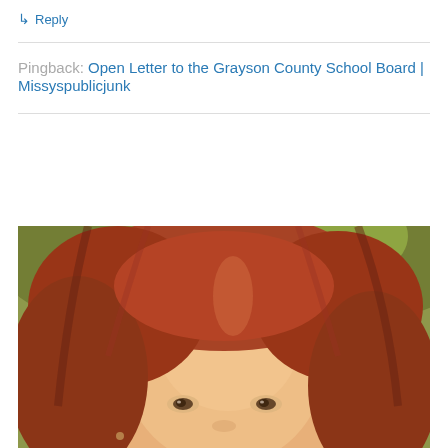↳ Reply
Pingback: Open Letter to the Grayson County School Board | Missyspublicjunk
[Figure (photo): Close-up portrait photo of a young woman with reddish-auburn hair, looking at the camera, with green foliage in the background. The image has a warm/vintage tint.]